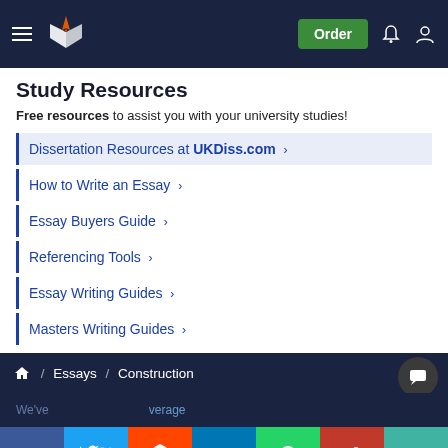Study Resources | Order
Study Resources
Free resources to assist you with your university studies!
Dissertation Resources at UKDiss.com >
How to Write an Essay >
Essay Buyers Guide >
Referencing Tools >
Essay Writing Guides >
Masters Writing Guides >
Home / Essays / Construction
We've ... average